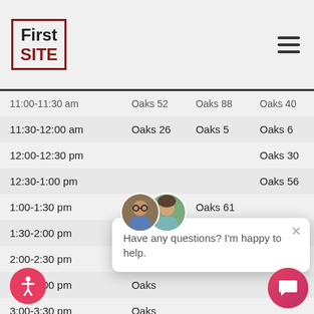First SITE
| Time | Room 1 | Room 2 | Room 3 |
| --- | --- | --- | --- |
| 11:00-11:30 am | Oaks 52 | Oaks 88 | Oaks 40 |
| 11:30-12:00 am | Oaks 26 | Oaks 5 | Oaks 6 |
| 12:00-12:30 pm |  |  | Oaks 30 |
| 12:30-1:00 pm |  |  | Oaks 56 |
| 1:00-1:30 pm | Oaks 38 | Oaks 61 |  |
| 1:30-2:00 pm | Oaks 59 | Oaks 70 |  |
| 2:00-2:30 pm | Oaks... |  |  |
| 2:30-3:00 pm | Oaks... |  |  |
| 3:00-3:30 pm | Oaks... |  |  |
| 3:30-4:00 pm | Oaks 63 | Oaks 90 | Oaks 37 |
| 4:00-4:30 pm | Oaks 52 | Oaks 79 | Oaks... |
| 4:30-5:00 pm | Oaks 77 | 206 Locust 9 | Oaks 95 |